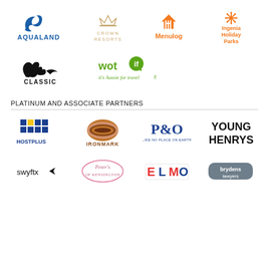[Figure (logo): Aqualand logo - blue swoosh with AQUALAND text]
[Figure (logo): Crown Resorts logo - crown icon with CROWN RESORTS text]
[Figure (logo): Menulog logo - orange house/fork icon with Menulog text]
[Figure (logo): Ingenia Holiday Parks logo - orange snowflake with orange text]
[Figure (logo): Classic logo - kangaroo silhouette with CLASSIC text]
[Figure (logo): Wotif logo - green wotif text with tagline it's Aussie for travel]
PLATINUM AND ASSOCIATE PARTNERS
[Figure (logo): Hostplus logo - blue H grid with HOSTPLUS text]
[Figure (logo): Ironmark logo - layered earth tones with IRONMARK text]
[Figure (logo): P&O logo - blue P&O with like no place on earth tagline]
[Figure (logo): Young Henrys logo - bold black YOUNG HENRYS text]
[Figure (logo): swyftx logo - black swyftx with arrow]
[Figure (logo): Peter's of Kensington logo - pink oval with script text]
[Figure (logo): ELMO logo - red and blue block letters]
[Figure (logo): brydens lawyers logo - grey rounded rectangle with white text]